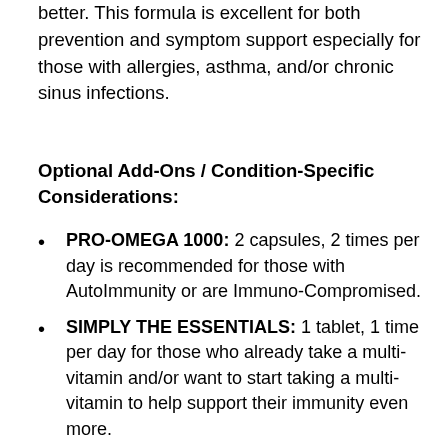better. This formula is excellent for both prevention and symptom support especially for those with allergies, asthma, and/or chronic sinus infections.
Optional Add-Ons / Condition-Specific Considerations:
PRO-OMEGA 1000: 2 capsules, 2 times per day is recommended for those with AutoImmunity or are Immuno-Compromised.
SIMPLY THE ESSENTIALS: 1 tablet, 1 time per day for those who already take a multi-vitamin and/or want to start taking a multi-vitamin to help support their immunity even more.
SINUPLUS: 2 capsules per day is recommended for those with allergies, asthma, frequent sinus infections, and/or chronic gut issues.